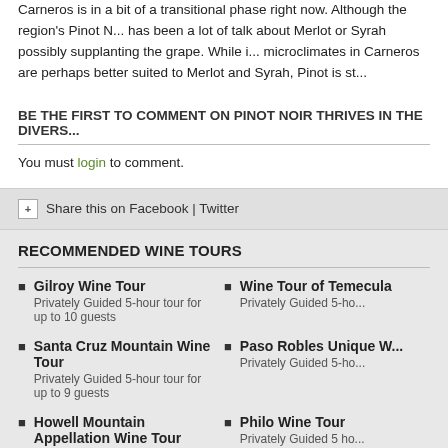Carneros is in a bit of a transitional phase right now. Although the region's Pinot N... has been a lot of talk about Merlot or Syrah possibly supplanting the grape. While i... microclimates in Carneros are perhaps better suited to Merlot and Syrah, Pinot is st...
BE THE FIRST TO COMMENT ON PINOT NOIR THRIVES IN THE DIVERS...
You must login to comment.
[+] Share this on Facebook | Twitter
RECOMMENDED WINE TOURS
Gilroy Wine Tour
Privately Guided 5-hour tour for up to 10 guests
Wine Tour of Temecula
Privately Guided 5-ho...
Santa Cruz Mountain Wine Tour
Privately Guided 5-hour tour for up to 9 guests
Paso Robles Unique W...
Privately Guided 5-ho...
Howell Mountain Appellation Wine Tour
Privately Guided 5-hour tour for up to 9 guests
Philo Wine Tour
Privately Guided 5 ho...
Majestic Paso Robles Wine Tours
Privately Guided 5-hour tour for up to 12-14 guests
Santa Cruz Wine Tour
Privately Guided 4-ho...